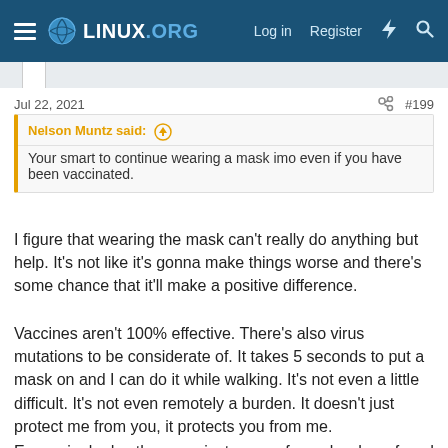LINUX.ORG — Log in  Register
Jul 22, 2021  #199
Nelson Muntz said: ↑
Your smart to continue wearing a mask imo even if you have been vaccinated.
I figure that wearing the mask can't really do anything but help. It's not like it's gonna make things worse and there's some chance that it'll make a positive difference.
Vaccines aren't 100% effective. There's also virus mutations to be considerate of. It takes 5 seconds to put a mask on and I can do it while walking. It's not even a little difficult. It's not even remotely a burden. It doesn't just protect me from you, it protects you from me.
Every single day there are instances of people who refused to